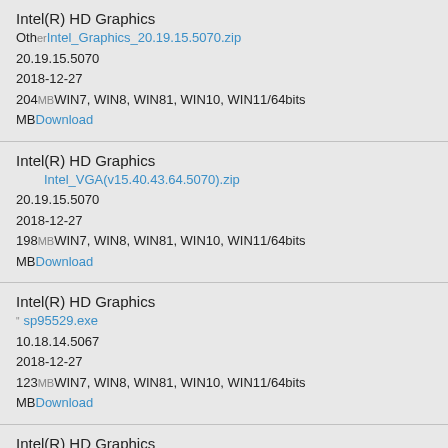Intel(R) HD Graphics
Other Intel_Graphics_20.19.15.5070.zip
20.19.15.5070
2018-12-27
204MB WIN7, WIN8, WIN81, WIN10, WIN11/64bits
MB Download
Intel(R) HD Graphics
Intel_VGA(v15.40.43.64.5070).zip
20.19.15.5070
2018-12-27
198MB WIN7, WIN8, WIN81, WIN10, WIN11/64bits
MB Download
Intel(R) HD Graphics
sp95529.exe
10.18.14.5067
2018-12-27
123MB WIN7, WIN8, WIN81, WIN10, WIN11/64bits
MB Download
Intel(R) HD Graphics
h2vdo21us14wis.exe
10.18.14.5067
2018-12-27